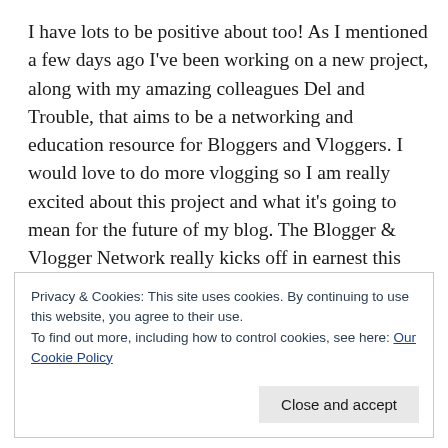I have lots to be positive about too! As I mentioned a few days ago I've been working on a new project, along with my amazing colleagues Del and Trouble, that aims to be a networking and education resource for Bloggers and Vloggers. I would love to do more vlogging so I am really excited about this project and what it's going to mean for the future of my blog. The Blogger & Vlogger Network really kicks off in earnest this weekend with our first live presentation from WrenNoir Cerise on the subject of Photography followed immediately by a fabulous launch party, which includes a chance to win early access to Collabor88!!!
Privacy & Cookies: This site uses cookies. By continuing to use this website, you agree to their use.
To find out more, including how to control cookies, see here: Our Cookie Policy